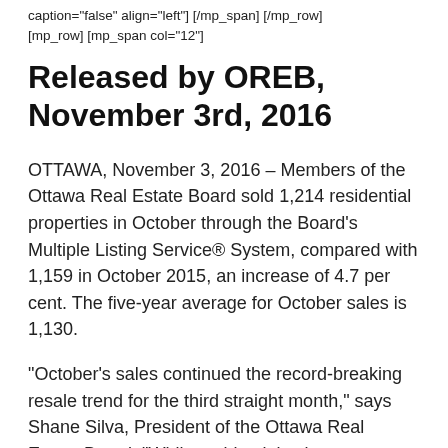caption="false" align="left"] [/mp_span] [/mp_row] [mp_row] [mp_span col="12"]
Released by OREB, November 3rd, 2016
OTTAWA, November 3, 2016 – Members of the Ottawa Real Estate Board sold 1,214 residential properties in October through the Board's Multiple Listing Service® System, compared with 1,159 in October 2015, an increase of 4.7 per cent. The five-year average for October sales is 1,130.
“October’s sales continued the record-breaking resale trend for the third straight month,” says Shane Silva, President of the Ottawa Real Estate Board. “While residential sales are identical to that of October 2015